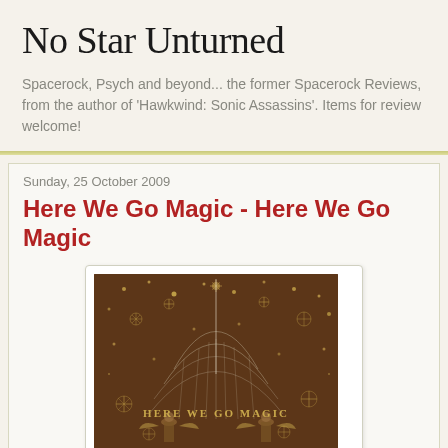No Star Unturned
Spacerock, Psych and beyond... the former Spacerock Reviews, from the author of 'Hawkwind: Sonic Assassins'. Items for review welcome!
Sunday, 25 October 2009
Here We Go Magic - Here We Go Magic
[Figure (photo): Album cover for 'Here We Go Magic' - dark brown background with golden illustrated cosmic/floral design and figures, text 'HERE WE GO MAGIC' in gold lettering]